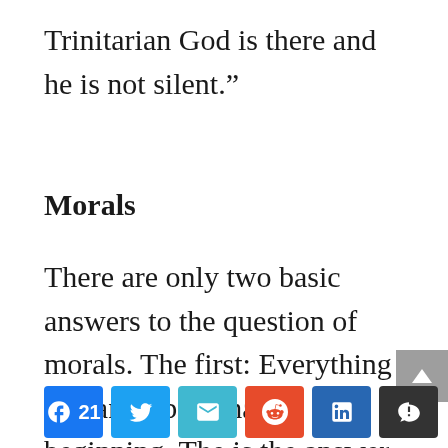Trinitarian God is there and he is not silent.”
Morals
There are only two basic answers to the question of morals. The first: Everything had an impersonal beginning. The is the answer of atheism. Schaeffer never